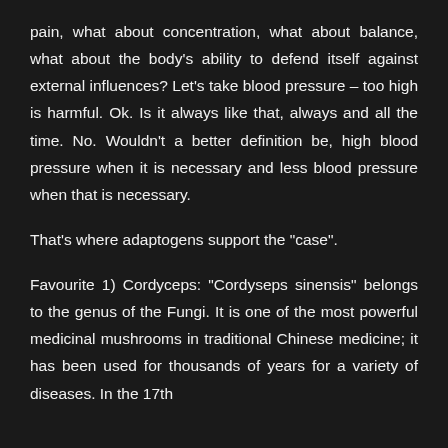pain, what about concentration, what about balance, what about the body's ability to defend itself against external influences? Let's take blood pressure – too high is harmful. Ok. Is it always like that, always and all the time. No. Wouldn't a better definition be, high blood pressure when it is necessary and less blood pressure when that is necessary.
That's where adaptogens support the "case".
Favourite 1) Cordyceps: "Cordyseps sinensis" belongs to the genus of the Fungi. It is one of the most powerful medicinal mushrooms in traditional Chinese medicine; it has been used for thousands of years for a variety of diseases. In the 17th